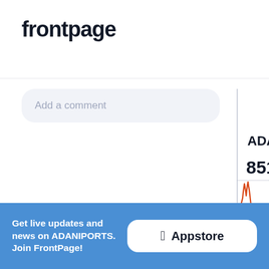[Figure (logo): frontpage logo - bold sans-serif text in dark navy]
Add a comment
[Figure (continuous-plot): Stock price line chart for ADANIPORTS showing an orange spike pattern]
ADANIPORTS
851.60 -0.05
Get live updates and news on ADANIPORTS. Join FrontPage!
Appstore